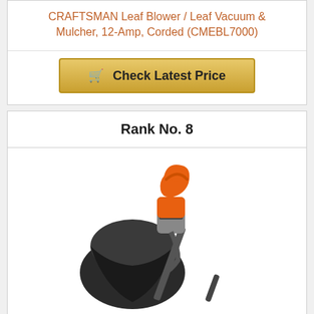CRAFTSMAN Leaf Blower / Leaf Vacuum & Mulcher, 12-Amp, Corded (CMEBL7000)
Check Latest Price
Rank No. 8
[Figure (photo): BLACK+DECKER 12 Amp 3in1 Electric Blower leaf blower with orange handle and black collection bag]
BLACK+DECKER 12 Amp 3in1 Electric Blower